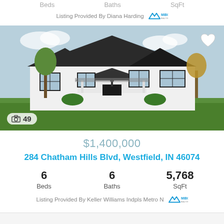Beds   Baths   SqFt
Listing Provided By Diana Harding [MIBOR logo]
[Figure (photo): Exterior photo of a large white modern farmhouse with black roof, front porch, multiple gables, manicured green lawn, and trees. Camera icon with '49' photos badge in bottom left. White heart icon in top right.]
$1,400,000
284 Chatham Hills Blvd, Westfield, IN 46074
6 Beds   6 Baths   5,768 SqFt
Listing Provided By Keller Williams Indpls Metro N [MIBOR logo]